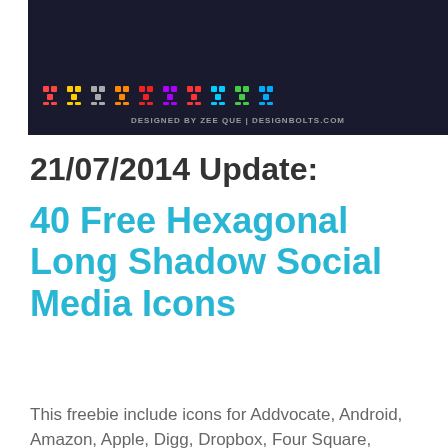[Figure (illustration): Dark banner with colorful pixel/icon rows and credit text 'DESIGNED BY ZEE QUE | DESIGNBOLTS.COM']
21/07/2014 Update:
40 Free Hexagonal Long Shadow Social Media Icons
This freebie include icons for Addvocate, Android, Amazon, Apple, Digg, Dropbox, Four Square, Facebook, RSS, Google Plus, Google Drive, Paynal
[Figure (photo): Advertisement banner: dark background with forest/animal image on left, text 'Just $2 can protect 1 acre of irreplaceable forest homes in the Amazon. How many acres are you willing to protect?' and green 'PROTECT FORESTS NOW' button]